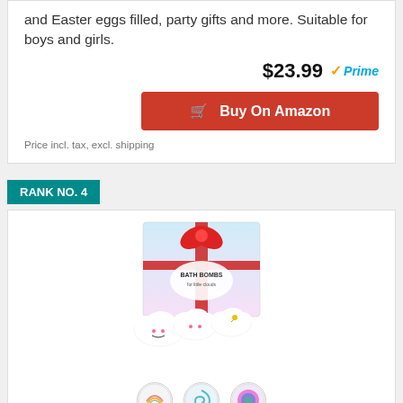and Easter eggs filled, party gifts and more. Suitable for boys and girls.
$23.99 Prime
Buy On Amazon
Price incl. tax, excl. shipping
RANK NO. 4
[Figure (photo): Bath bombs gift set product photo showing cloud-shaped bath bombs in packaging with rainbow thumbnail images below]
Bath Bombs For Kids, Spa Gifts For Women, Bath Bomb With Surprise